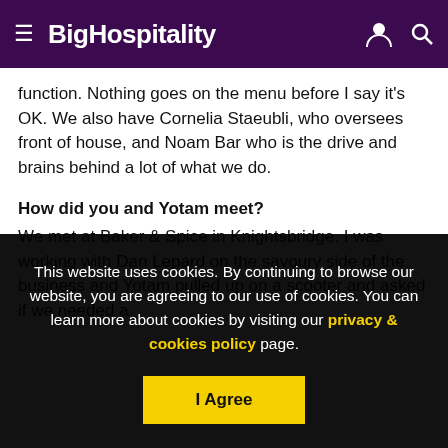BigHospitality
function. Nothing goes on the menu before I say it's OK. We also have Cornelia Staeubli, who oversees front of house, and Noam Bar who is the drive and brains behind a lot of what we do.
How did you and Yotam meet?
We met at Baker & Spice in Knightsbridge. I was working with Dan Lepard on the savoury side of the business and Yotam pulled up on a scooter and asked if we needed a
This website uses cookies. By continuing to browse our website, you are agreeing to our use of cookies. You can learn more about cookies by visiting our privacy & cookies policy page.